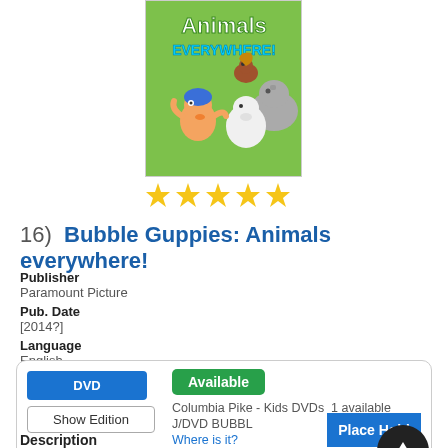[Figure (illustration): DVD cover art for Bubble Guppies: Animals Everywhere! showing cartoon characters including a blue-haired boy and various animals on a green background]
[Figure (other): Five yellow star rating icons]
16)  Bubble Guppies: Animals everywhere!
Publisher
Paramount Picture
Pub. Date
[2014?]
Language
English
DVD | Available | Columbia Pike - Kids DVDs 1 available | J/DVD BUBBL | Where is it? | Place Hold | Show Edition